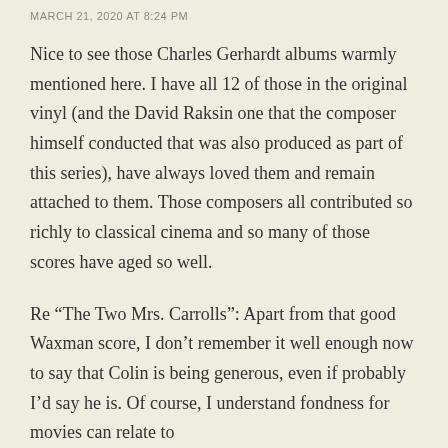MARCH 21, 2020 AT 8:24 PM
Nice to see those Charles Gerhardt albums warmly mentioned here. I have all 12 of those in the original vinyl (and the David Raksin one that the composer himself conducted that was also produced as part of this series), have always loved them and remain attached to them. Those composers all contributed so richly to classical cinema and so many of those scores have aged so well.
Re “The Two Mrs. Carrolls”: Apart from that good Waxman score, I don’t remember it well enough now to say that Colin is being generous, even if probably I’d say he is. Of course, I understand fondness for movies can relate to memories of how and when we first saw them